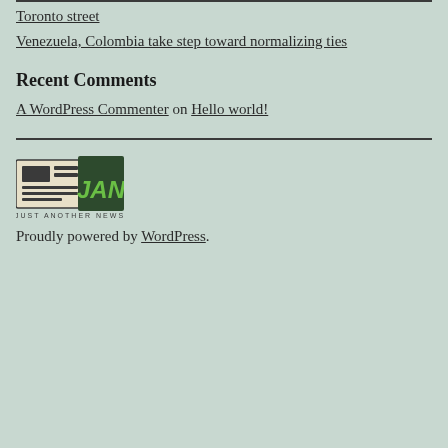Toronto street
Venezuela, Colombia take step toward normalizing ties
Recent Comments
A WordPress Commenter on Hello world!
[Figure (logo): Just Another News logo with newspaper icon and JAN text in green box]
Proudly powered by WordPress.